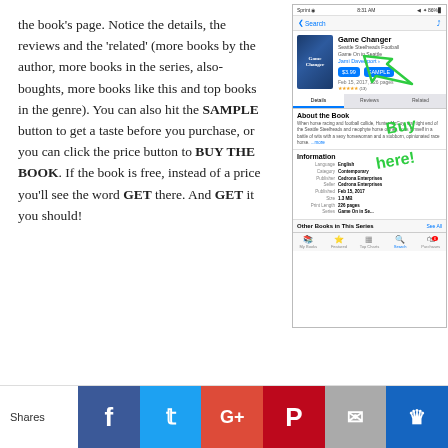the book's page. Notice the details, the reviews and the 'related' (more books by the author, more books in the series, also-boughts, more books like this and top books in the genre). You can also hit the SAMPLE button to get a taste before you purchase, or you can click the price button to BUY THE BOOK. If the book is free, instead of a price you'll see the word GET there. And GET it you should!
[Figure (screenshot): Screenshot of an Apple Books / iBooks app page for 'Game Changer' by Jami Davenport, showing the book cover, price ($3.99), SAMPLE button, Details/Reviews/Related tabs, About the Book section, Information section with language, category, publisher, seller, published date, size, print length, series fields, and Other Books in This Series section. A green hand-drawn annotation overlays the screenshot with an arrow pointing to the price button and text reading 'Buy here!'.]
Shares